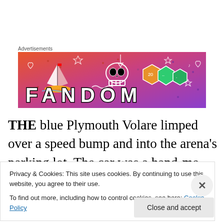Advertisements
[Figure (illustration): Fandom advertisement banner with colorful gradient background (orange to purple) featuring illustrated icons including a sailboat, skull, dice, and the word FANDOM in bold letters]
THE blue Plymouth Volare limped over a speed bump and into the arena's parking lot. The car was a hand-me-down from Grandna Robert, Dad's dad. Although he was the
Privacy & Cookies: This site uses cookies. By continuing to use this website, you agree to their use.
To find out more, including how to control cookies, see here: Cookie Policy
Close and accept